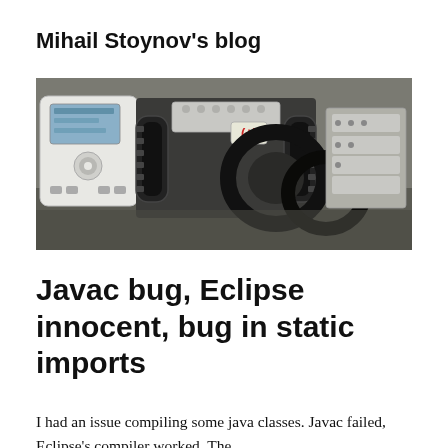Mihail Stoynov's blog
[Figure (photo): A LEGO Mindstorms robot with a NXT brick, treads, and mechanical arm components on a dark surface.]
Javac bug, Eclipse innocent, bug in static imports
I had an issue compiling some java classes. Javac failed, Eclipse's compiler worked. The